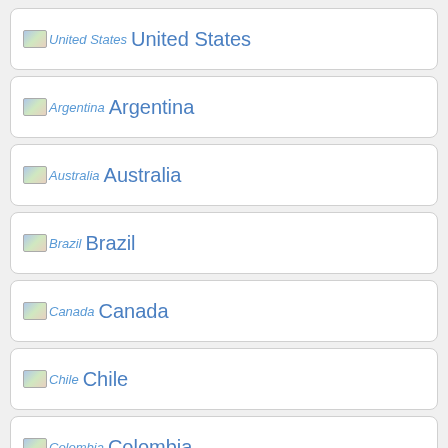United States
Argentina
Australia
Brazil
Canada
Chile
Colombia
Denmark